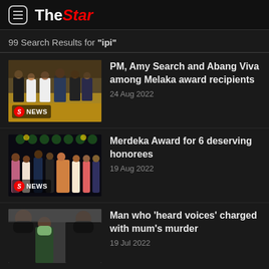The Star
99 Search Results for "ipi"
[Figure (photo): Group of people in formal attire receiving awards, ceremony setting with yellow carpet]
PM, Amy Search and Abang Viva among Melaka award recipients
24 Aug 2022
[Figure (photo): People on stage at an awards ceremony with dark background and lighting]
Merdeka Award for 6 deserving honorees
19 Aug 2022
[Figure (photo): People wearing face masks in a courtroom or official setting]
Man who 'heard voices' charged with mum's murder
19 Jul 2022
[Figure (photo): Two people partially visible, one with curly hair]
Comedy act couple post bail with